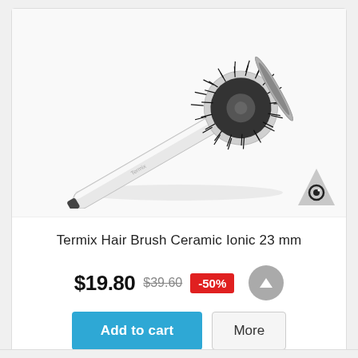[Figure (photo): A Termix ceramic ionic hair brush (23mm) with white handle and black bristle barrel, photographed diagonally on white background. A circular eye-logo watermark is in the bottom right corner of the image.]
Termix Hair Brush Ceramic Ionic 23 mm
$19.80 $39.60 -50%
Add to cart   More